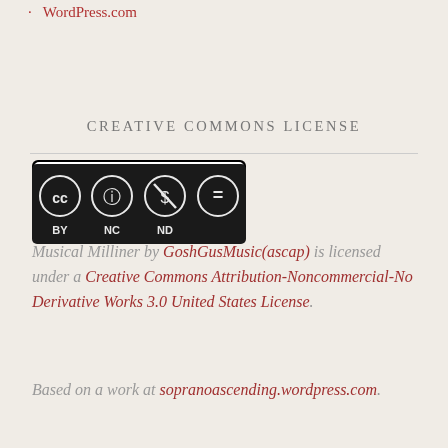WordPress.com
CREATIVE COMMONS LICENSE
[Figure (logo): Creative Commons BY NC ND license badge]
Musical Milliner by GoshGusMusic(ascap) is licensed under a Creative Commons Attribution-Noncommercial-No Derivative Works 3.0 United States License. Based on a work at sopranoascending.wordpress.com.